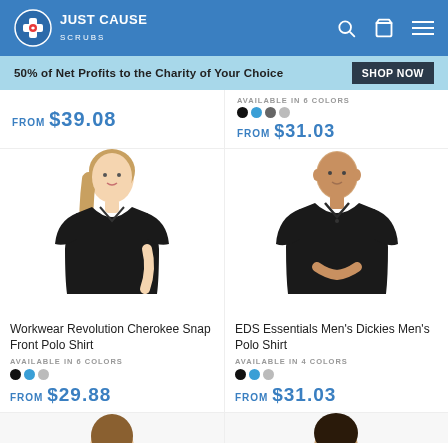[Figure (logo): Just Cause Scrubs logo with cross icon and white text on blue header]
50% of Net Profits to the Charity of Your Choice  SHOP NOW
FROM $39.08
AVAILABLE IN 6 COLORS
FROM $31.03
[Figure (photo): Woman wearing black Workwear Revolution Cherokee Snap Front Polo Shirt]
[Figure (photo): Man wearing black EDS Essentials Men's Dickies Men's Polo Shirt]
Workwear Revolution Cherokee Snap Front Polo Shirt
AVAILABLE IN 6 COLORS
FROM $29.88
EDS Essentials Men's Dickies Men's Polo Shirt
AVAILABLE IN 4 COLORS
FROM $31.03
[Figure (photo): Partial view of male model at bottom left]
[Figure (photo): Partial view of female model at bottom right]